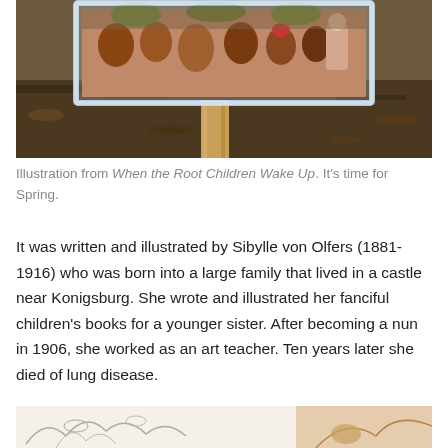[Figure (photo): Photograph of a framed illustration mounted on a wooden stake in a garden/mulched area. The framed image shows root children figures. The frame appears to be clear acrylic or glass.]
Illustration from When the Root Children Wake Up. It's time for Spring.
It was written and illustrated by Sibylle von Olfers (1881-1916) who was born into a large family that lived in a castle near Konigsburg. She wrote and illustrated her fanciful children's books for a younger sister. After becoming a nun in 1906, she worked as an art teacher. Ten years later she died of lung disease.
[Figure (illustration): Partial view of an illustration from the book, showing sketched figures of root children among foliage.]